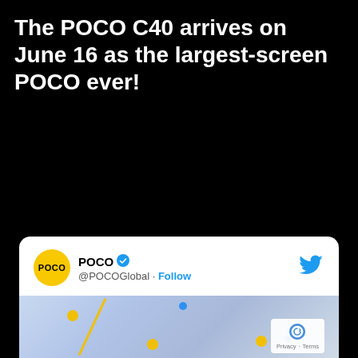The POCO C40 arrives on June 16 as the largest-screen POCO ever!
[Figure (screenshot): Tweet from @POCOGlobal announcing the POCO C40 launch on June 16, with POCO Yellow logo, verified badge, follow button, Twitter bird icon, and tweet text about #POCOC40 being exclusively designed by POCO, POCO Yellow joining the party, and stay tuned for the online launch on June 16th. Below is a partial product image with yellow and blue dots on a light blue background, and a reCAPTCHA badge in the bottom right.]